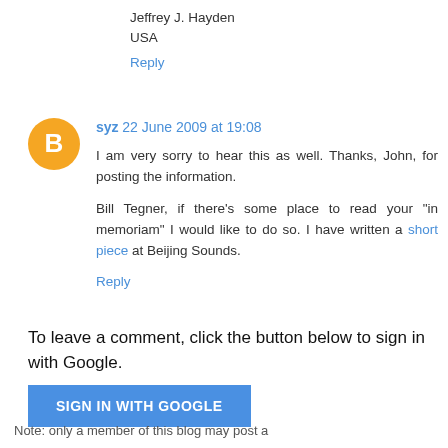Jeffrey J. Hayden
USA
Reply
syz 22 June 2009 at 19:08
I am very sorry to hear this as well. Thanks, John, for posting the information.

Bill Tegner, if there's some place to read your "in memoriam" I would like to do so. I have written a short piece at Beijing Sounds.
Reply
To leave a comment, click the button below to sign in with Google.
SIGN IN WITH GOOGLE
Note: only a member of this blog may post a comment.